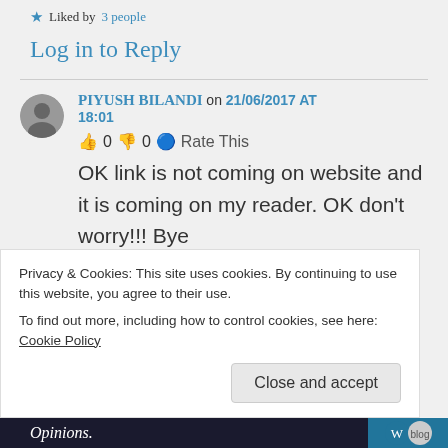★ Liked by 3 people
Log in to Reply
PIYUSH BILANDI on 21/06/2017 at 18:01
👍 0 👎 0 ℹ Rate This
OK link is not coming on website and it is coming on my reader. OK don't worry!!! Bye
Privacy & Cookies: This site uses cookies. By continuing to use this website, you agree to their use. To find out more, including how to control cookies, see here: Cookie Policy
Close and accept
Opinions.